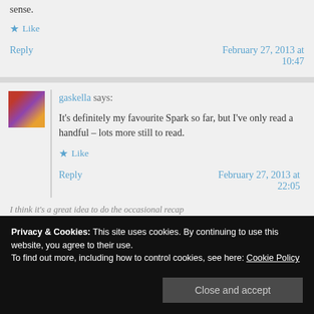sense.
★ Like
Reply | February 27, 2013 at 10:47
gaskella says:
It's definitely my favourite Spark so far, but I've only read a handful – lots more still to read.
★ Like
Reply | February 27, 2013 at 22:05
Privacy & Cookies: This site uses cookies. By continuing to use this website, you agree to their use. To find out more, including how to control cookies, see here: Cookie Policy
Close and accept
I think it's a great idea to do the occasional recap